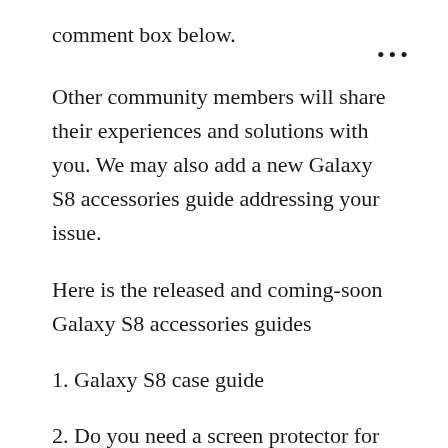comment box below.
Other community members will share their experiences and solutions with you. We may also add a new Galaxy S8 accessories guide addressing your issue.
Here is the released and coming-soon Galaxy S8 accessories guides
1. Galaxy S8 case guide
2. Do you need a screen protector for Galaxy S8